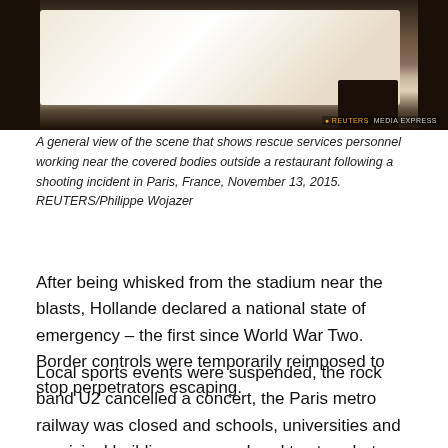[Figure (photo): A scene showing rescue services personnel working near covered bodies outside a restaurant following a shooting incident in Paris, France, November 13, 2015. Dark/dim scene with white sheets over bodies and a boot visible. Reuters/Media Express watermark.]
A general view of the scene that shows rescue services personnel working near the covered bodies outside a restaurant following a shooting incident in Paris, France, November 13, 2015. REUTERS/Philippe Wojazer
After being whisked from the stadium near the blasts, Hollande declared a national state of emergency – the first since World War Two. Border controls were temporarily reimposed to stop perpetrators escaping.
Local sports events were suspended, the rock band U2 cancelled a concert, the Paris metro railway was closed and schools, universities and municipal buildings were ordered to stay shut on Saturday. However some rail and air services were expected to run.